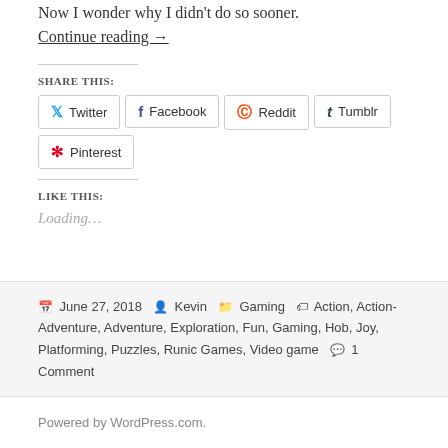Now I wonder why I didn't do so sooner.
Continue reading →
SHARE THIS:
Twitter
Facebook
Reddit
Tumblr
Pinterest
LIKE THIS:
Loading...
Posted June 27, 2018  Author Kevin  Categories Gaming  Tags Action, Action-Adventure, Adventure, Exploration, Fun, Gaming, Hob, Joy, Platforming, Puzzles, Runic Games, Video game  1 Comment
Powered by WordPress.com.